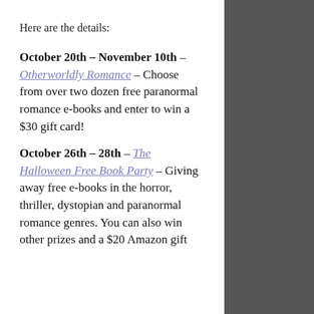Here are the details:
October 20th – November 10th – Otherworldly Romance – Choose from over two dozen free paranormal romance e-books and enter to win a $30 gift card!
October 26th – 28th – The Halloween Free Book Party – Giving away free e-books in the horror, thriller, dystopian and paranormal romance genres. You can also win other prizes and a $20 Amazon gift